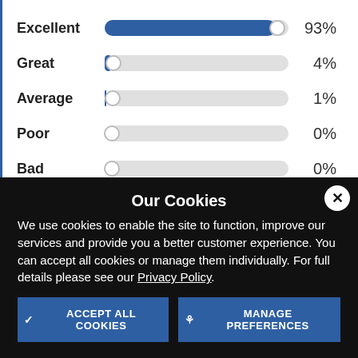[Figure (bar-chart): Rating distribution]
Our Cookies
We use cookies to enable the site to function, improve our services and provide you a better customer experience. You can accept all cookies or manage them individually. For full details please see our Privacy Policy.
ACCEPT ALL COOKIES
MANAGE PREFERENCES